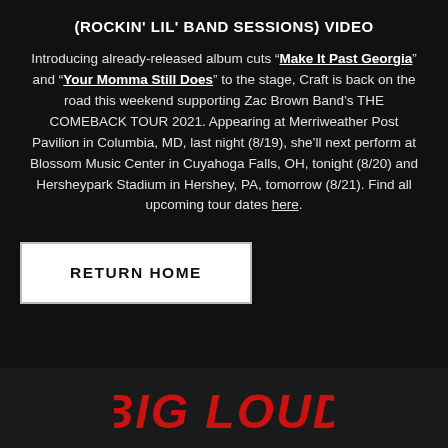(ROCKIN' LIL' BAND SESSIONS) VIDEO
Introducing already-released album cuts “Make It Past Georgia” and “Your Momma Still Does” to the stage, Craft is back on the road this weekend supporting Zac Brown Band’s THE COMEBACK TOUR 2021. Appearing at Merriweather Post Pavilion in Columbia, MD, last night (8/19), she’ll next perform at Blossom Music Center in Cuyahoga Falls, OH, tonight (8/20) and Hersheypark Stadium in Hershey, PA, tomorrow (8/21). Find all upcoming tour dates here.
RETURN HOME
[Figure (logo): BIG LOUD logo in red italic bold text on dark background]